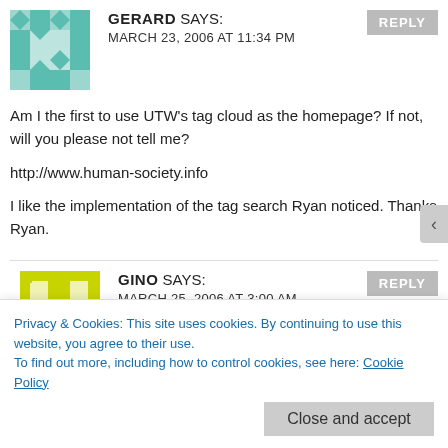GERARD SAYS:
MARCH 23, 2006 AT 11:34 PM
Am I the first to use UTW's tag cloud as the homepage? If not, will you please not tell me?

http://www.human-society.info

I like the implementation of the tag search Ryan noticed. Thanks Ryan.
GINO SAYS:
MARCH 25, 2006 AT 3:00 AM
Hi Christine,
Privacy & Cookies: This site uses cookies. By continuing to use this website, you agree to their use.
To find out more, including how to control cookies, see here: Cookie Policy